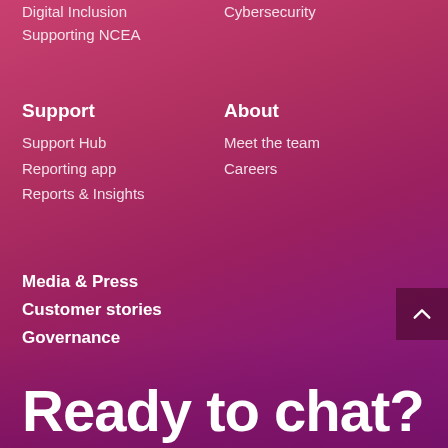Digital Inclusion
Supporting NCEA
Cybersecurity
Support
Support Hub
Reporting app
Reports & Insights
About
Meet the team
Careers
Media & Press
Customer stories
Governance
Ready to chat?